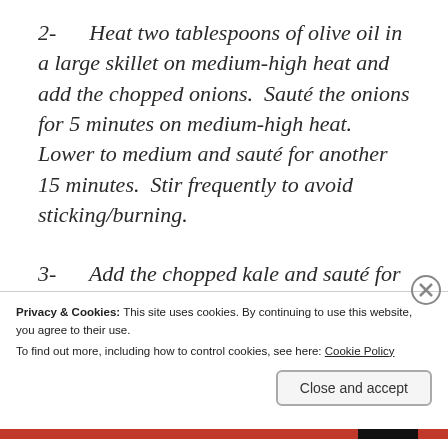2-   Heat two tablespoons of olive oil in a large skillet on medium-high heat and add the chopped onions.  Sauté the onions for 5 minutes on medium-high heat.  Lower to medium and sauté for another 15 minutes.  Stir frequently to avoid sticking/burning.
3-   Add the chopped kale and sauté for another 10 minutes.
Privacy & Cookies: This site uses cookies. By continuing to use this website, you agree to their use.
To find out more, including how to control cookies, see here: Cookie Policy
Close and accept